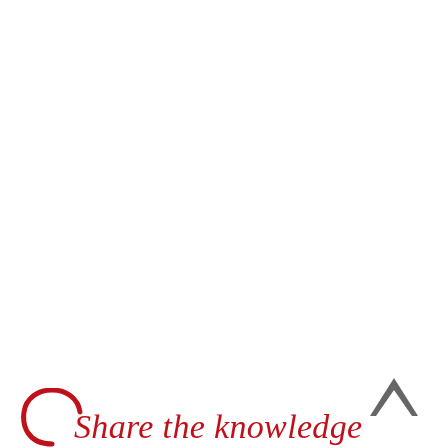[Figure (logo): Red circular logo/swoosh arc on the left side of the tagline text]
Share the knowledge
[Figure (illustration): Grey upward-pointing chevron/arrow icon in the bottom-right corner]